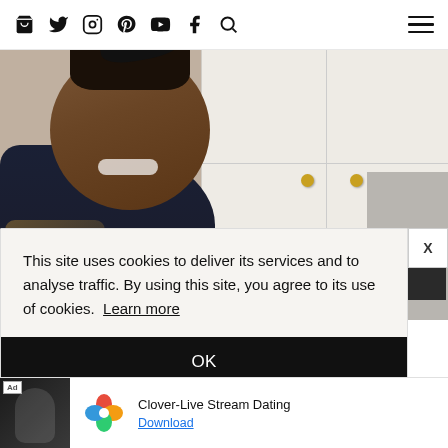Icons: bag, twitter, instagram, pinterest, youtube, facebook, search, hamburger menu
[Figure (photo): A smiling woman with natural updo hairstyle in a floral blouse, posed in front of white kitchen cabinets with gold knobs]
This site uses cookies to deliver its services and to analyse traffic. By using this site, you agree to its use of cookies.  Learn more
OK
[Figure (infographic): Advertisement banner for Clover-Live Stream Dating app showing a woman photo, Clover logo (colorful four-leaf clover), app name, and Download link]